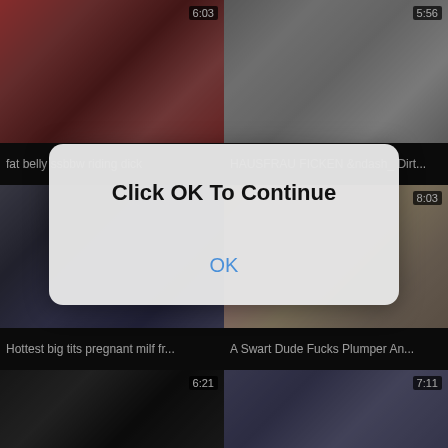[Figure (screenshot): Video thumbnail grid showing adult content video thumbnails with durations and titles, overlaid with a modal dialog saying 'Click OK To Continue' with an OK button]
fat belly ssbbw riding dick
HAUSFRAU FICKEN &ndash_ Dirt...
Hottest big tits pregnant milf fr...
A Swart Dude Fucks Plumper An...
Chubby Nitu bhabi enjoying carn
Mommy and Son Express regret